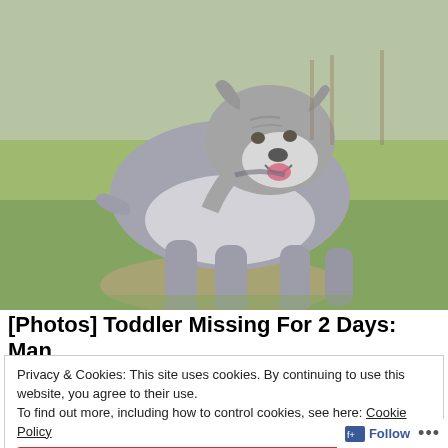[Figure (photo): A large muscular gray and white pit bull dog standing on grass outdoors, facing slightly left, with mouth open.]
[Photos] Toddler Missing For 2 Days: Man
Privacy & Cookies: This site uses cookies. By continuing to use this website, you agree to their use.
To find out more, including how to control cookies, see here: Cookie Policy
Close and accept